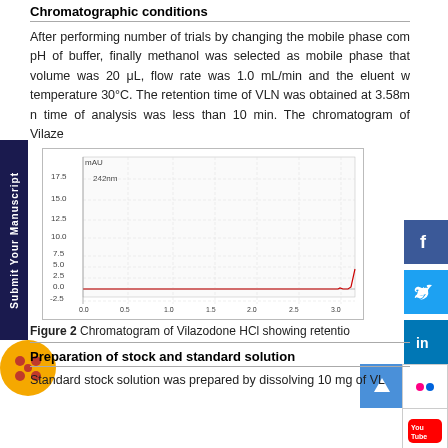Chromatographic conditions
After performing number of trials by changing the mobile phase composition, pH of buffer, finally methanol was selected as mobile phase that volume was 20 μL, flow rate was 1.0 mL/min and the eluent w temperature 30°C. The retention time of VLN was obtained at 3.58m n time of analysis was less than 10 min. The chromatogram of Vilaze
[Figure (continuous-plot): Chromatogram of Vilazodone HCl at 242nm showing detector response (mAU) vs. time (minutes), y-axis from -2.5 to 17.5 mAU, x-axis from 0.0 to 3.0+ min]
Figure 2 Chromatogram of Vilazodone HCl showing retention time
Preparation of stock and standard solution
Standard stock solution was prepared by dissolving 10 mg of VL